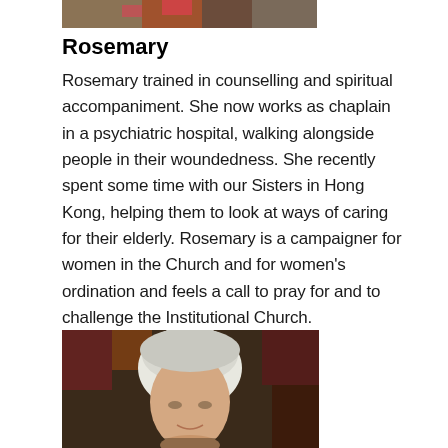[Figure (photo): Partial photo at the top of the page, cropped — shows colorful image fragment]
Rosemary
Rosemary trained in counselling and spiritual accompaniment. She now works as chaplain in a psychiatric hospital, walking alongside people in their woundedness. She recently spent some time with our Sisters in Hong Kong, helping them to look at ways of caring for their elderly. Rosemary is a campaigner for women in the Church and for women's ordination and feels a call to pray for and to challenge the Institutional Church.
[Figure (photo): Portrait photo of an elderly woman with short white/grey hair, partially cropped at the bottom of the page]